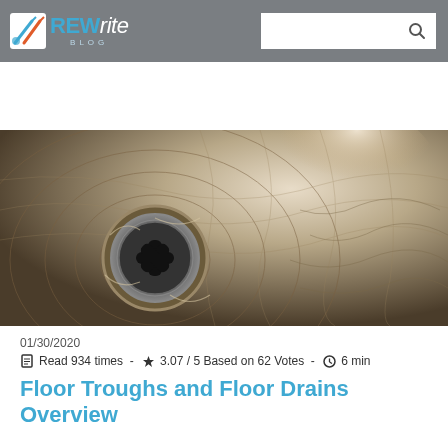REWrite BLOG
[Figure (photo): Close-up sepia/black-and-white photograph of a circular floor drain with water swirling around it, showing the drain grate and water patterns on the metal surface.]
01/30/2020
Read 934 times - 3.07 / 5 Based on 62 Votes - 6 min
Floor Troughs and Floor Drains Overview